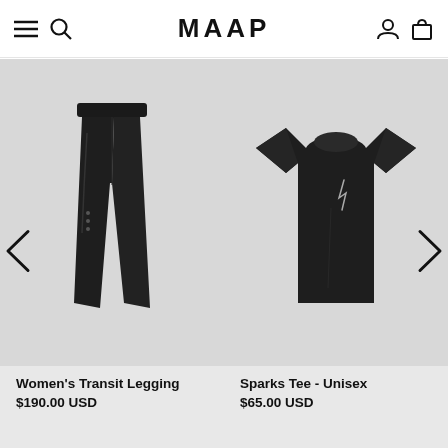MAAP
[Figure (photo): Black women's cycling/running tight leggings on light grey background]
[Figure (photo): Black unisex t-shirt with small logo on chest on light grey background]
Women's Transit Legging
$190.00 USD
Sparks Tee - Unisex
$65.00 USD